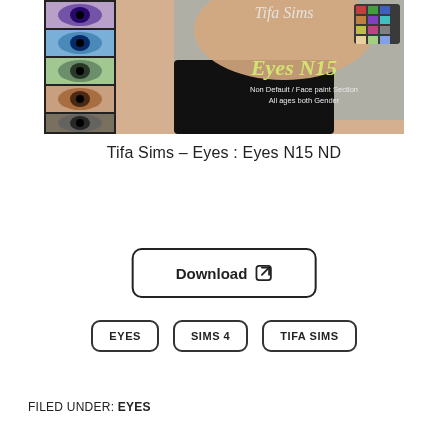[Figure (photo): Product image for Tifa Sims Eyes N15 ND, showing a close-up of a Sims character face with a black turtleneck collar, a strip of eye close-up previews on the left, and text overlays including 'Tifa Sims', 'Eyes N15', 'Non Default / Face paint Section', 'All ages both Gender', and a color swatch grid.]
Tifa Sims – Eyes : Eyes N15 ND
Download
EYES
SIMS 4
TIFA SIMS
FILED UNDER: EYES